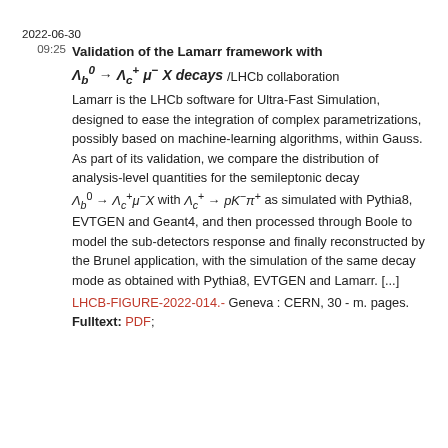2022-06-30
Validation of the Lamarr framework with Λ⁰_b → Λ⁺_c μ⁻ X decays /LHCb collaboration
Lamarr is the LHCb software for Ultra-Fast Simulation, designed to ease the integration of complex parametrizations, possibly based on machine-learning algorithms, within Gauss. As part of its validation, we compare the distribution of analysis-level quantities for the semileptonic decay Λ⁰_b → Λ⁺_c μ⁻ X with Λ⁺_c → pK⁻π⁺ as simulated with Pythia8, EVTGEN and Geant4, and then processed through Boole to model the sub-detectors response and finally reconstructed by the Brunel application, with the simulation of the same decay mode as obtained with Pythia8, EVTGEN and Lamarr. [...]
LHCB-FIGURE-2022-014.- Geneva : CERN, 30 - m. pages. Fulltext: PDF;